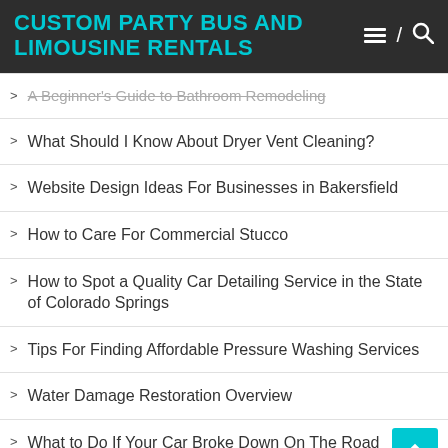CUSTOM PARTY BUS AND LIMOUSINE RENTALS
A Beginner's Guide to Bathroom Remodeling
What Should I Know About Dryer Vent Cleaning?
Website Design Ideas For Businesses in Bakersfield
How to Care For Commercial Stucco
How to Spot a Quality Car Detailing Service in the State of Colorado Springs
Tips For Finding Affordable Pressure Washing Services
Water Damage Restoration Overview
What to Do If Your Car Broke Down On The Road
The Do's and Don'ts of How to Prepare an Income Statement for a Towing Service